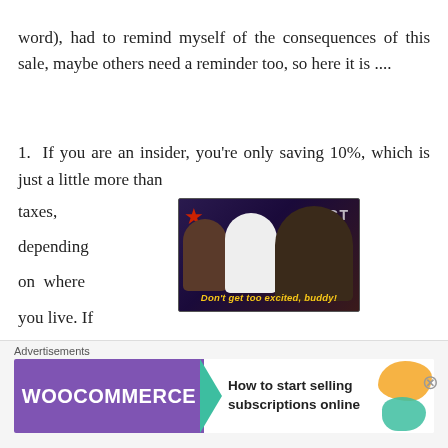word), had to remind myself of the consequences of this sale, maybe others need a reminder too, so here it is ....
1. If you are an insider, you're only saving 10%, which is just a little more than taxes, depending on where you live. If you are
[Figure (screenshot): Video thumbnail showing TV show judges panel with subtitle 'Don't get too excited, buddy!']
Advertisements
[Figure (infographic): WooCommerce advertisement banner: 'How to start selling subscriptions online']